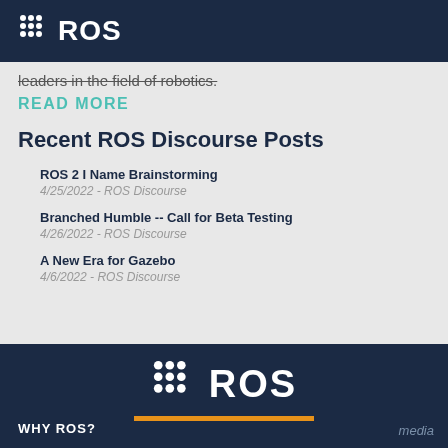ROS
leaders in the field of robotics.
READ MORE
Recent ROS Discourse Posts
ROS 2 I Name Brainstorming
4/25/2022 - ROS Discourse
Branched Humble -- Call for Beta Testing
4/26/2022 - ROS Discourse
A New Era for Gazebo
4/6/2022 - ROS Discourse
[Figure (logo): ROS logo with dot grid and text in white on dark navy background, with orange underline]
WHY ROS?
media